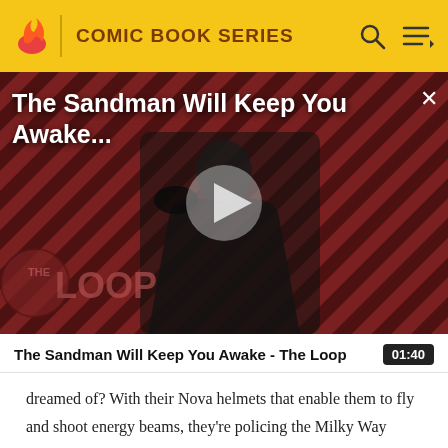COMIC BOOK SERIES
[Figure (screenshot): Video thumbnail showing The Sandman character in black cape against red and black diagonal striped background, with THE LOOP watermark in bottom left, play button in center, and title overlay at top]
The Sandman Will Keep You Awake - The Loop
dreamed of? With their Nova helmets that enable them to fly and shoot energy beams, they're policing the Milky Way twice as well as before — and grabbing